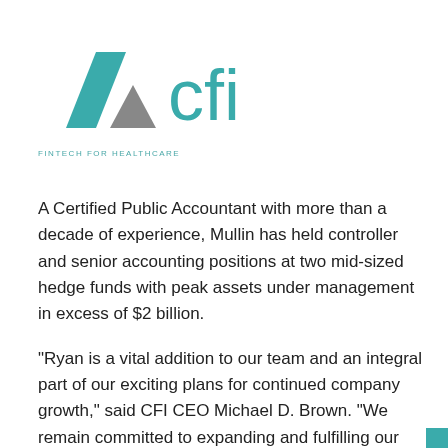[Figure (logo): ACFI Fintech for Healthcare logo with teal and grey geometric shapes and text 'cfi FINTECH FOR HEALTHCARE']
A Certified Public Accountant with more than a decade of experience, Mullin has held controller and senior accounting positions at two mid-sized hedge funds with peak assets under management in excess of $2 billion.
“Ryan is a vital addition to our team and an integral part of our exciting plans for continued company growth,” said CFI CEO Michael D. Brown. “We remain committed to expanding and fulfilling our company’s mission of revolutionizing payment processing for healthcare providers while providing patients